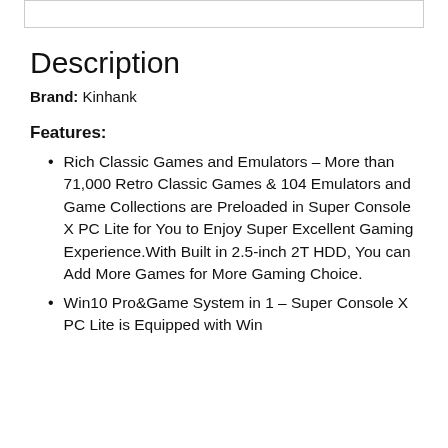Description
Brand: Kinhank
Features:
Rich Classic Games and Emulators – More than 71,000 Retro Classic Games & 104 Emulators and Game Collections are Preloaded in Super Console X PC Lite for You to Enjoy Super Excellent Gaming Experience.With Built in 2.5-inch 2T HDD, You can Add More Games for More Gaming Choice.
Win10 Pro&Game System in 1 – Super Console X PC Lite is Equipped with Win